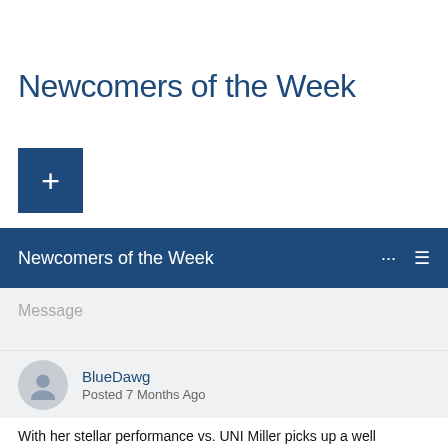Newcomers of the Week
[Figure (other): Dark blue square button with a white plus (+) sign]
Newcomers of the Week
Message
BlueDawg
Posted 7 Months Ago
With her stellar performance vs. UNI Miller picks up a well deserved MVC newcomer of the week.